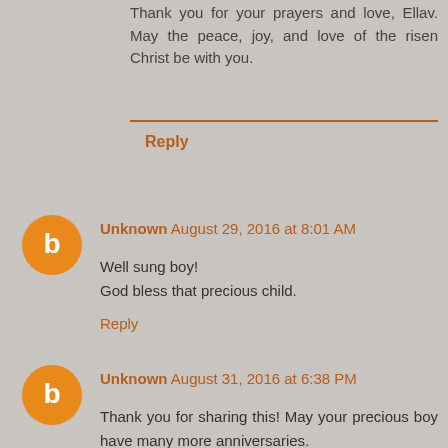Thank you for your prayers and love, Ellav. May the peace, joy, and love of the risen Christ be with you.
Reply
Unknown August 29, 2016 at 8:01 AM
Well sung boy!
God bless that precious child.
Reply
Unknown August 31, 2016 at 6:38 PM
Thank you for sharing this! May your precious boy have many more anniversaries.

Mo
Reply